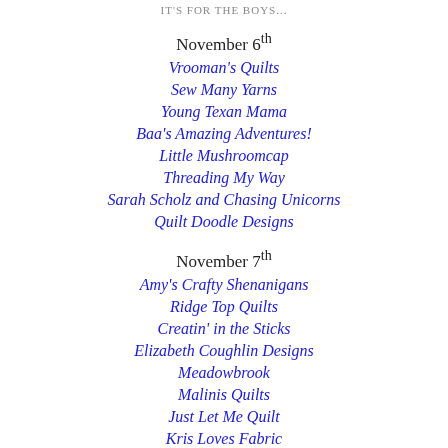IT'S FOR THE BOYS...
November 6th
Vrooman's Quilts
Sew Many Yarns
Young Texan Mama
Baa's Amazing Adventures!
Little Mushroomcap
Threading My Way
Sarah Scholz and Chasing Unicorns
Quilt Doodle Designs
November 7th
Amy's Crafty Shenanigans
Ridge Top Quilts
Creatin' in the Sticks
Elizabeth Coughlin Designs
Meadowbrook
Malinis Quilts
Just Let Me Quilt
Kris Loves Fabric
November 8th